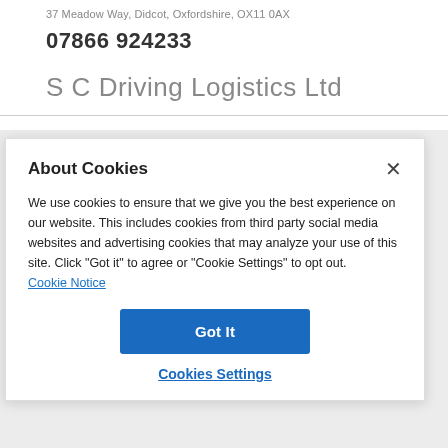37 Meadow Way, Didcot, Oxfordshire, OX11 0AX
07866 924233
S C Driving Logistics Ltd
About Cookies
We use cookies to ensure that we give you the best experience on our website. This includes cookies from third party social media websites and advertising cookies that may analyze your use of this site. Click "Got it" to agree or "Cookie Settings" to opt out.
Cookie Notice
Got It
Cookies Settings